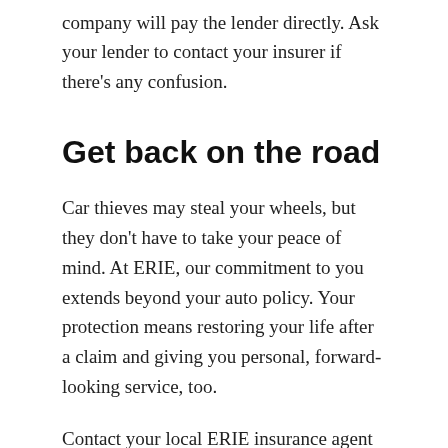company will pay the lender directly. Ask your lender to contact your insurer if there's any confusion.
Get back on the road
Car thieves may steal your wheels, but they don't have to take your peace of mind. At ERIE, our commitment to you extends beyond your auto policy. Your protection means restoring your life after a claim and giving you personal, forward-looking service, too.
Contact your local ERIE insurance agent to help restore what was lost and get back to your life.